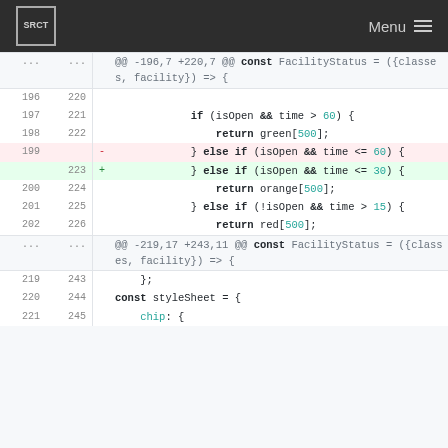SRCT Menu
[Figure (screenshot): Git diff view showing code changes in a JavaScript file. Lines 196-202 show context with if/else if statements checking isOpen and time conditions. Line 199 is deleted (red) showing '} else if (isOpen && time <= 60) {'. Line 223 is added (green) showing '} else if (isOpen && time <= 30) {'. Additional context from lines 219-221/243-245 shows closing brace, const styleSheet, and chip property.]